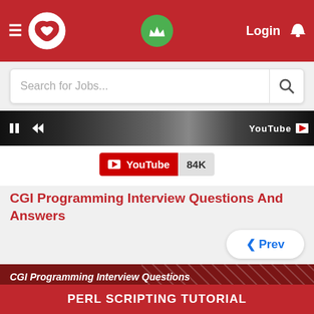≡ [Logo] [Crown] Login 🔔
Search for Jobs...
[Figure (screenshot): YouTube video thumbnail strip showing playback controls and YouTube logo]
YouTube 84K
CGI Programming Interview Questions And Answers
‹ Prev
CGI Programming Interview Questions
Question 1. What Do I Absolutely Need To Know In Cgi?
Answer : If you're already a programmer,CGI is
PERL SCRIPTING TUTORIAL